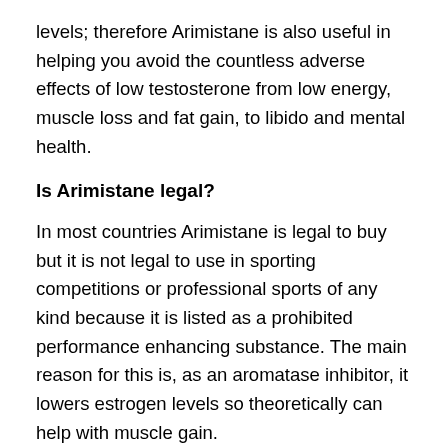levels; therefore Arimistane is also useful in helping you avoid the countless adverse effects of low testosterone from low energy, muscle loss and fat gain, to libido and mental health.
Is Arimistane legal?
In most countries Arimistane is legal to buy but it is not legal to use in sporting competitions or professional sports of any kind because it is listed as a prohibited performance enhancing substance. The main reason for this is, as an aromatase inhibitor, it lowers estrogen levels so theoretically can help with muscle gain.
This puts Arimistane in the class of a performance